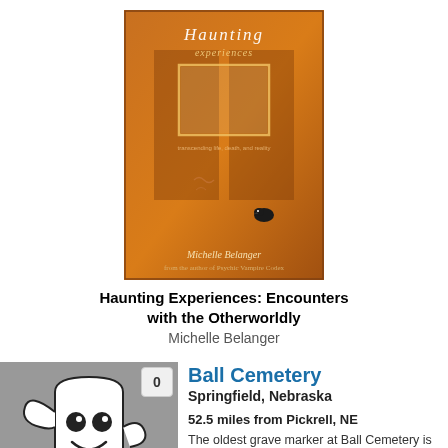[Figure (photo): Book cover of 'Haunting Experiences: Encounters with the Otherworldly' by Michelle Belanger. Orange/amber toned cover with ghostly door image and raven.]
Haunting Experiences: Encounters with the Otherworldly
Michelle Belanger
[Figure (illustration): Ghost icon - white cartoon ghost with smile on grey background, with a badge showing '0']
Ball Cemetery
Springfield, Nebraska
52.5 miles from Pickrell, NE
The oldest grave marker at Ball Cemetery is reported to be dated 1869, and many apparitions have been reported here over the years. One is a tall male with a bad temper who walks around after dark, sometimes attacking late-night visitors. Another is Mo...